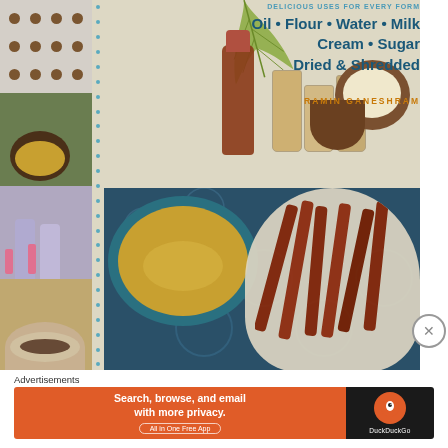[Figure (photo): Book cover for a coconut cookbook showing food photography collage — left strip with chocolate balls, coconut dish, berry smoothies, chocolate pie; main area with bottles, tropical drinks, coconut halves, yellow polenta bowl, ribs on blue batik cloth]
DELICIOUS USES FOR EVERY FORM
Oil • Flour • Water • Milk
Cream • Sugar
Dried & Shredded
RAMIN GANESHRAM
Advertisements
[Figure (screenshot): DuckDuckGo advertisement banner: orange background on left with text 'Search, browse, and email with more privacy. All in One Free App'; dark background on right with DuckDuckGo logo]